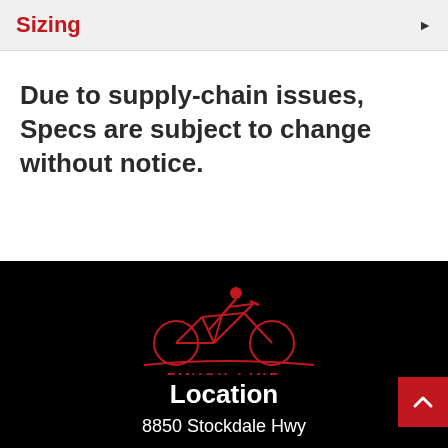Sizing
Due to supply-chain issues, Specs are subject to change without notice.
[Figure (logo): Finish Line bicycle shop logo — stylized red bicycle with rider above red FINISH LINE text, on black background]
Location
8850 Stockdale Hwy